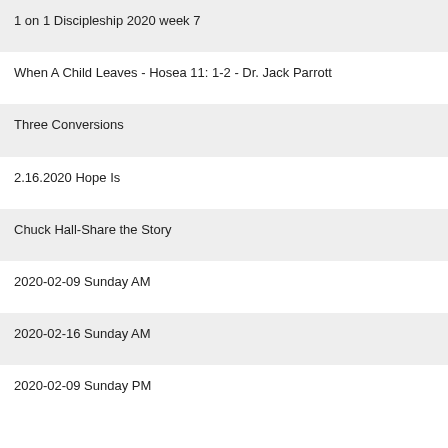1 on 1 Discipleship 2020 week 7
When A Child Leaves - Hosea 11: 1-2 - Dr. Jack Parrott
Three Conversions
2.16.2020 Hope Is
Chuck Hall-Share the Story
2020-02-09 Sunday AM
2020-02-16 Sunday AM
2020-02-09 Sunday PM